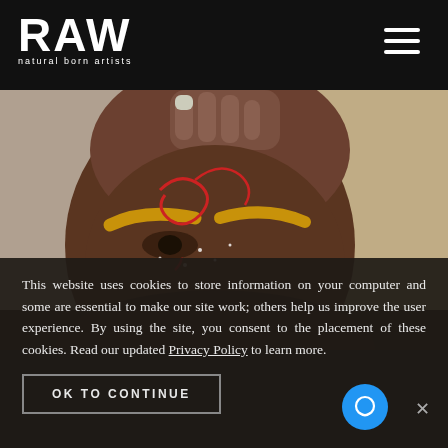RAW natural born artists
[Figure (photo): Close-up portrait of a Black woman with artistic makeup: yellow/gold painted eyebrows, red swirling face paint, glitter on skin, hand raised to head, neutral background]
This website uses cookies to store information on your computer and some are essential to make our site work; others help us improve the user experience. By using the site, you consent to the placement of these cookies. Read our updated Privacy Policy to learn more.
OK TO CONTINUE